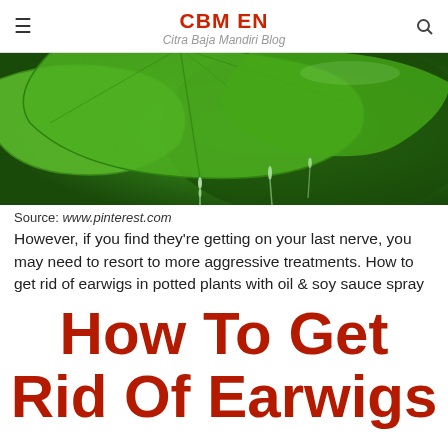CBM EN
Citra Baja Mandiri Blog
[Figure (photo): Close-up photo of green leaves with water droplets dripping from the edges, dark green background]
Source: www.pinterest.com
However, if you find they’re getting on your last nerve, you may need to resort to more aggressive treatments. How to get rid of earwigs in potted plants with oil & soy sauce spray
How To Get Rid Of Earwigs